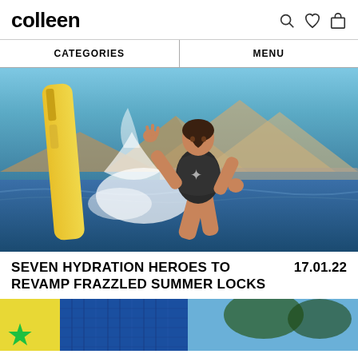colleen
CATEGORIES
MENU
[Figure (photo): Woman wakeboarding or surfing with a yellow surfboard, wearing a black and white patterned swimsuit, arms raised, water splashing, mountains in background, sunny day.]
SEVEN HYDRATION HEROES TO REVAMP FRAZZLED SUMMER LOCKS
17.01.22
[Figure (photo): Partial view of a second article image showing colorful clothing items including a blue knit garment and a green star graphic, outdoors setting.]